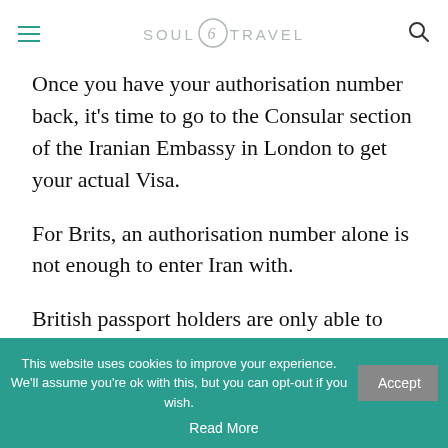SOUL TRAVEL
Once you have your authorisation number back, it's time to go to the Consular section of the Iranian Embassy in London to get your actual Visa.
For Brits, an authorisation number alone is not enough to enter Iran with.
British passport holders are only able to collect their Visa from an Iranian Embassy – in the UK that means a trip to London. It's not possible to pick it up on arrival in Iran.
This website uses cookies to improve your experience. We'll assume you're ok with this, but you can opt-out if you wish. Accept Read More